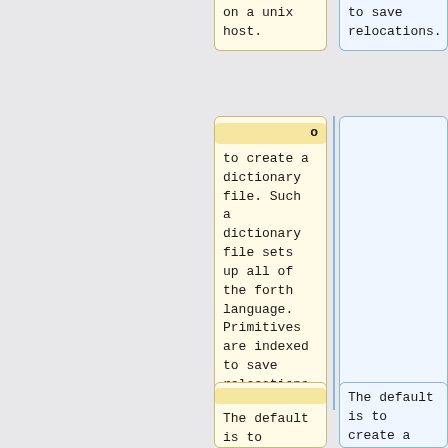on a unix host.
to save relocations.
o
to create a dictionary file. Such a dictionary file sets up all of the forth language. Primitives are indexed to save relocations.
(empty blue cell)
The default is to create a
The default is to create a forth